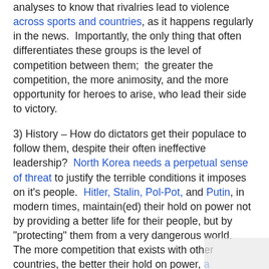analyses to know that rivalries lead to violence across sports and countries, as it happens regularly in the news.  Importantly, the only thing that often differentiates these groups is the level of competition between them;  the greater the competition, the more animosity, and the more opportunity for heroes to arise, who lead their side to victory.
3) History – How do dictators get their populace to follow them, despite their often ineffective leadership?  North Korea needs a perpetual sense of threat to justify the terrible conditions it imposes on it's people.  Hitler, Stalin, Pol-Pot, and Putin, in modern times, maintain(ed) their hold on power not by providing a better life for their people, but by "protecting" them from a very dangerous world.  The more competition that exists with other countries, the better their hold on power, a phenomenon that has noted by political scientists in the US as well.
4) Everyday experience – A lot of social science and history simply confirms what we already know from our